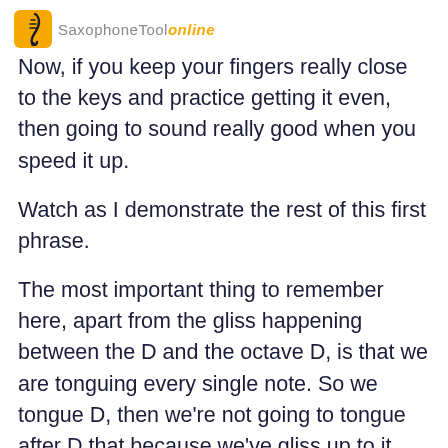SaxophoneToolkit online
Now, if you keep your fingers really close to the keys and practice getting it even, then going to sound really good when you speed it up.
Watch as I demonstrate the rest of this first phrase.
The most important thing to remember here, apart from the gliss happening between the D and the octave D, is that we are tonguing every single note. So we tongue D, then we're not going to tongue after D that because we've gliss up to it, but we're going to tongue the C